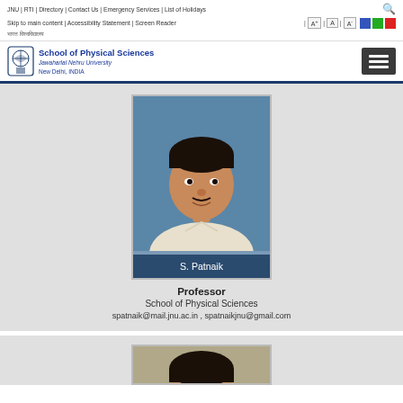JNU | RTI | Directory | Contact Us | Emergency Services | List of Holidays
Skip to main content | Accessibility Statement | Screen Reader | A+ | A | A-
भारत विश्वविद्यालय
School of Physical Sciences, Jawaharlal Nehru University, New Delhi, INDIA
[Figure (photo): Portrait photo of S. Patnaik, a man in a light-colored shirt against a blue background]
S. Patnaik
Professor
School of Physical Sciences
spatnaik@mail.jnu.ac.in , spatnaikjnu@gmail.com
[Figure (photo): Partial portrait photo of another faculty member, bottom of page, cut off]